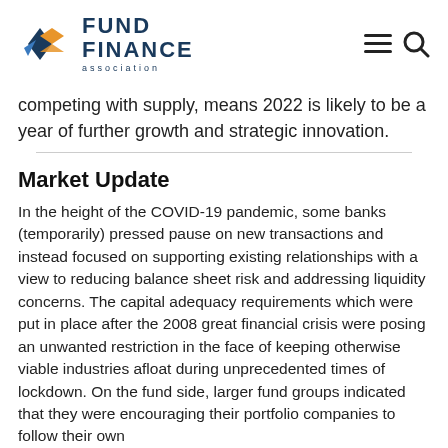Fund Finance Association
competing with supply, means 2022 is likely to be a year of further growth and strategic innovation.
Market Update
In the height of the COVID-19 pandemic, some banks (temporarily) pressed pause on new transactions and instead focused on supporting existing relationships with a view to reducing balance sheet risk and addressing liquidity concerns. The capital adequacy requirements which were put in place after the 2008 great financial crisis were posing an unwanted restriction in the face of keeping otherwise viable industries afloat during unprecedented times of lockdown. On the fund side, larger fund groups indicated that they were encouraging their portfolio companies to follow their own hiring...